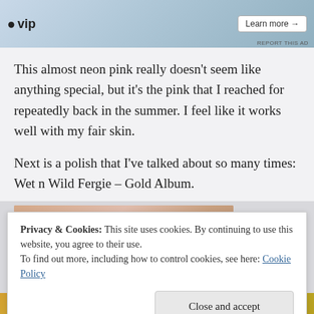[Figure (screenshot): Advertisement banner with WordPress VIP logo and social media card thumbnails, with a 'Learn more' button]
This almost neon pink really doesn’t seem like anything special, but it’s the pink that I reached for repeatedly back in the summer.  I feel like it works well with my fair skin.
Next is a polish that I’ve talked about so many times: Wet n Wild Fergie – Gold Album.
[Figure (photo): Close-up photo of a fingernail painted with a shimmery purple/violet nail polish]
Privacy & Cookies: This site uses cookies. By continuing to use this website, you agree to their use.
To find out more, including how to control cookies, see here: Cookie Policy
Close and accept